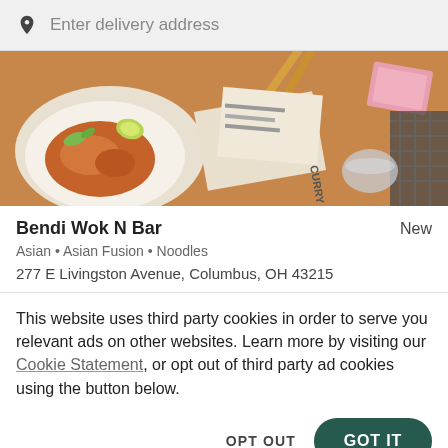Enter delivery address
[Figure (photo): Restaurant food photo showing a plate of Asian noodles with chopsticks, menu items visible in background]
Bendi Wok N Bar
Asian • Asian Fusion • Noodles
277 E Livingston Avenue, Columbus, OH 43215
This website uses third party cookies in order to serve you relevant ads on other websites. Learn more by visiting our Cookie Statement, or opt out of third party ad cookies using the button below.
OPT OUT   GOT IT